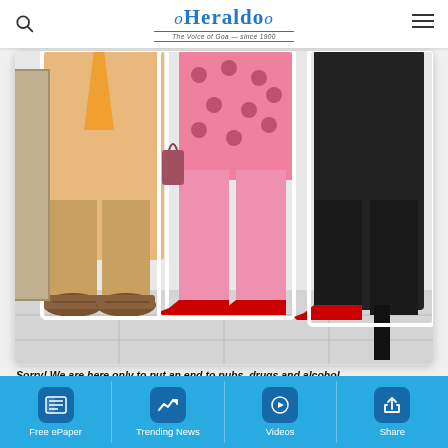oHeraldo – The Voice of Goa since 1900
[Figure (illustration): Cartoon illustration showing legs and feet of people standing, a man in brown shoes and khaki trousers, a woman in pink polka-dot clothing and red high-heeled shoes, and another figure in black with red shoes.]
Sorry! We are here only to put an end to pubs, drugs and alcohol. Gentleman harassing you is neither on alcohol nor on drugs
Free ePaper  Trending News  Videos  Share